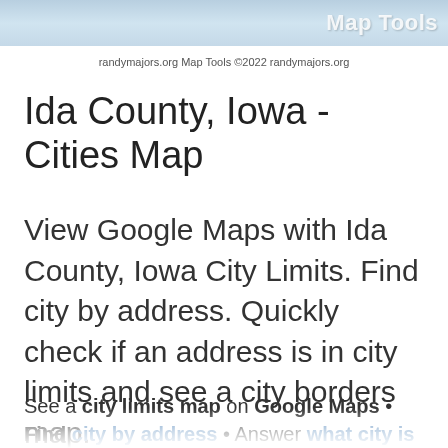[Figure (other): Header banner with gradient blue background and partial white text (Map Tools or similar)]
randymajors.org Map Tools ©2022 randymajors.org
Ida County, Iowa - Cities Map
View Google Maps with Ida County, Iowa City Limits. Find city by address. Quickly check if an address is in city limits and see a city borders map.
See a city limits map on Google Maps • Find city by address • Answer what city is this address in. See all city boundaries or city lines